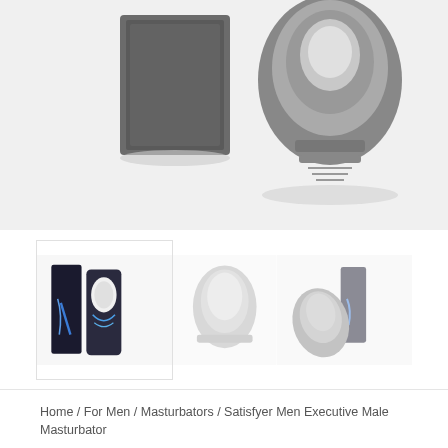[Figure (photo): Product images showing the Satisfyer Men Executive Male Masturbator from multiple angles: main hero shots showing dark box packaging and the masturbator device from above, plus three thumbnail views showing front packaging, side view, and angled view with packaging.]
Home / For Men / Masturbators / Satisfyer Men Executive Male Masturbator
Satisfyer Men Executive Male Masturbator
The ultimate sex toy for men has arrived with this revolutionary handheld masturbator The Satisfyer Men Executive. Enjoy the pleasure of the super soft real life like